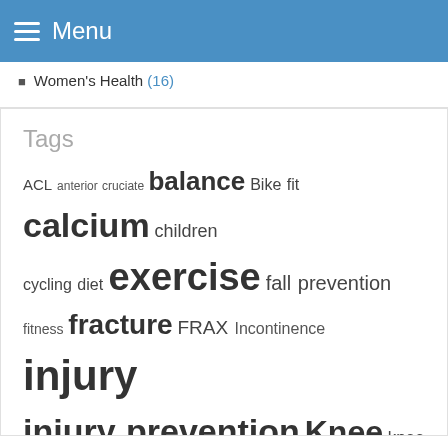Menu
Women's Health (16)
Tags
ACL anterior cruciate balance Bike fit calcium children cycling diet exercise fall prevention fitness fracture FRAX Incontinence injury injury prevention Knee knee pain Low back low back pain meniscus neck neck pain obesity osteoarthritis osteoarthrosis osteopenia Osteoporosis poor posture post natal posture pre natal resistance resistance training road